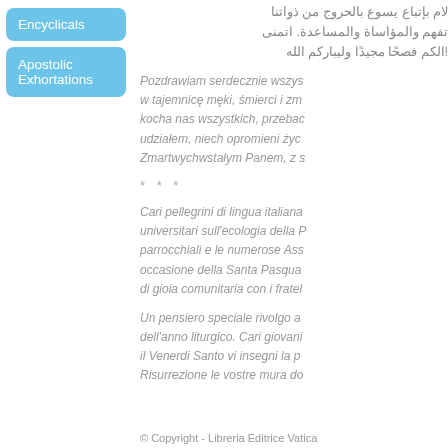Encyclicals
Apostolic Exhortations
لام بإتباع يسوع بالحروج من ذواتنا تفهم والمؤاساة والمساعدة. اتمنى الكم فصحًا مجيدًا وليباركم الله
Pozdrawiam serdecznie wszys w tajemnicę męki, śmierci i zm kocha nas wszystkich, przebac udziałem, niech opromieni życ Zmartwychwstałym Panem, z s
* * *
Cari pellegrini di lingua italiana universitari sull'ecologia della P parrocchiali e le numerose Ass occasione della Santa Pasqua di gioia comunitaria con i fratel
Un pensiero speciale rivolgo a dell'anno liturgico. Cari giovani il Venerdi Santo vi insegni la p Risurrezione le vostre mura do
© Copyright - Libreria Editrice Vatica